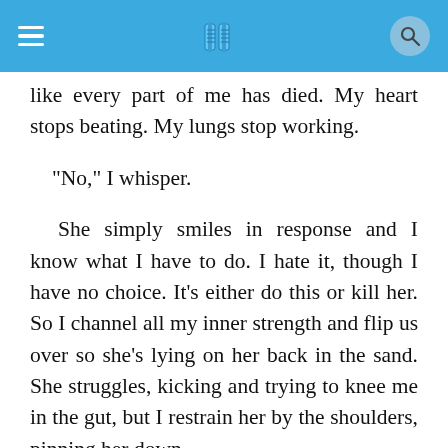[App header bar with hamburger menu, book icon, and search button]
like every part of me has died. My heart stops beating. My lungs stop working.
"No," I whisper.
She simply smiles in response and I know what I have to do. I hate it, though I have no choice. It's either do this or kill her. So I channel all my inner strength and flip us over so she's lying on her back in the sand. She struggles, kicking and trying to knee me in the gut, but I restrain her by the shoulders, pinning her down.
"Relax, I'm not going to hurt you," I say as she